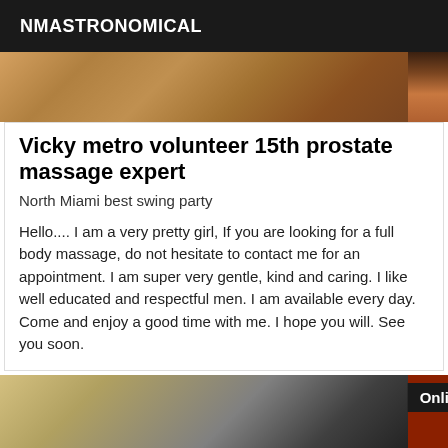NMASTRONOMICAL
[Figure (photo): Top portion of a photo showing a wooden floor surface in warm brown tones]
Vicky metro volunteer 15th prostate massage expert
North Miami best swing party
Hello.... I am a very pretty girl, If you are looking for a full body massage, do not hesitate to contact me for an appointment. I am super very gentle, kind and caring. I like well educated and respectful men. I am available every day. Come and enjoy a good time with me. I hope you will. See you soon.
[Figure (photo): Bottom photo showing a person in a room, partially obscured, with an orange/red wall on the right side and an Online badge in the upper right corner]